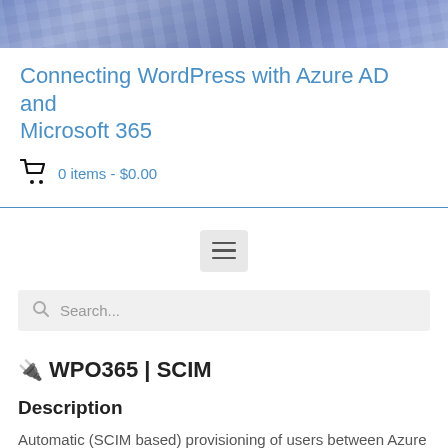[Figure (photo): Banner image showing a keyboard with blue/purple tones]
Connecting WordPress with Azure AD and Microsoft 365
0 items - $0.00
WPO365 | SCIM
Description
Automatic (SCIM based) provisioning of users between Azure